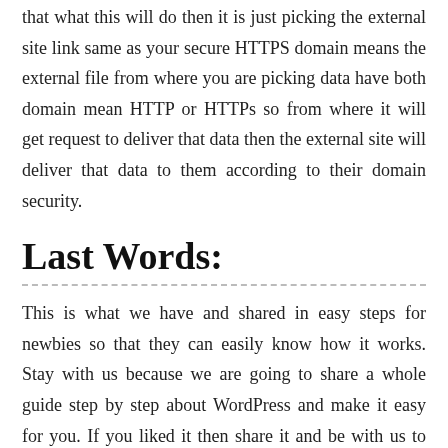that what this will do then it is just picking the external site link same as your secure HTTPS domain means the external file from where you are picking data have both domain mean HTTP or HTTPs so from where it will get request to deliver that data then the external site will deliver that data to them according to their domain security.
Last Words:
This is what we have and shared in easy steps for newbies so that they can easily know how it works. Stay with us because we are going to share a whole guide step by step about WordPress and make it easy for you. If you liked it then share it and be with us to get next tutorial. If you have any problem then feel free to ask us